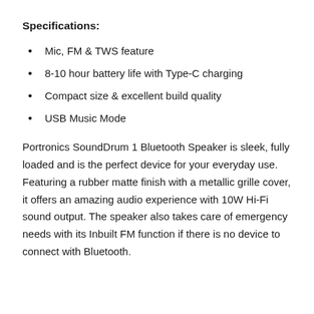Specifications:
Mic, FM & TWS feature
8-10 hour battery life with Type-C charging
Compact size & excellent build quality
USB Music Mode
Portronics SoundDrum 1 Bluetooth Speaker is sleek, fully loaded and is the perfect device for your everyday use. Featuring a rubber matte finish with a metallic grille cover, it offers an amazing audio experience with 10W Hi-Fi sound output. The speaker also takes care of emergency needs with its Inbuilt FM function if there is no device to connect with Bluetooth.